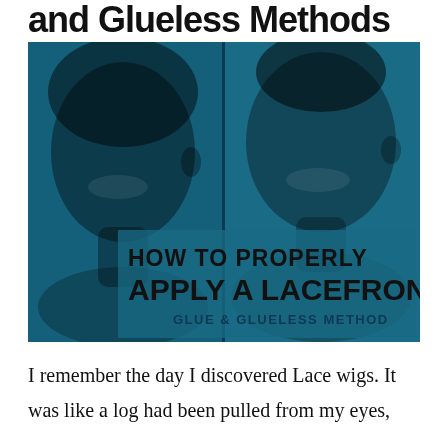and Glueless Methods
[Figure (photo): Split image of two Black women with blue tint overlay. Left side shows a woman smiling with hair down; right side shows a woman smiling with hair pulled back. Overlaid text reads: HOW TO PROPERLY APPLY A LACEFRONT GLUE & GLUELESS METHOD]
I remember the day I discovered Lace wigs. It was like a log had been pulled from my eyes,